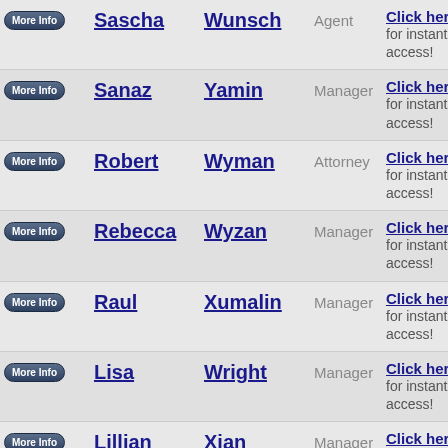|  | First | Last | Role | Link |
| --- | --- | --- | --- | --- |
| More Info | Sascha | Wunsch | Agent | Click here n for instant access! |
| More Info | Sanaz | Yamin | Manager | Click here n for instant access! |
| More Info | Robert | Wyman | Attorney | Click here n for instant access! |
| More Info | Rebecca | Wyzan | Manager | Click here n for instant access! |
| More Info | Raul | Xumalin | Manager | Click here n for instant access! |
| More Info | Lisa | Wright | Manager | Click here n for instant access! |
| More Info | Lillian | Xian | Manager | Click here n for instant access! |
| More Info | Laura | Wright | Publicist | Click here n for instant access! |